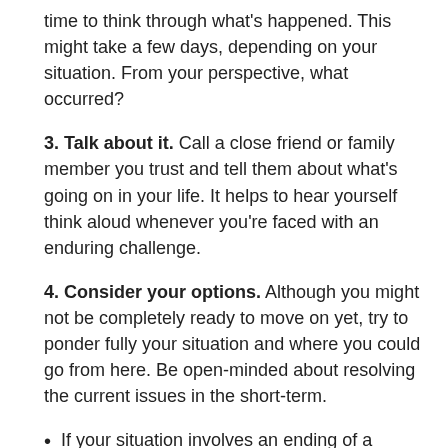time to think through what's happened. This might take a few days, depending on your situation. From your perspective, what occurred?
3. Talk about it. Call a close friend or family member you trust and tell them about what's going on in your life. It helps to hear yourself think aloud whenever you're faced with an enduring challenge.
4. Consider your options. Although you might not be completely ready to move on yet, try to ponder fully your situation and where you could go from here. Be open-minded about resolving the current issues in the short-term.
If your situation involves an ending of a relationship, for example, maybe you'll have to find another place to live quickly. Could you move in with a friend or family